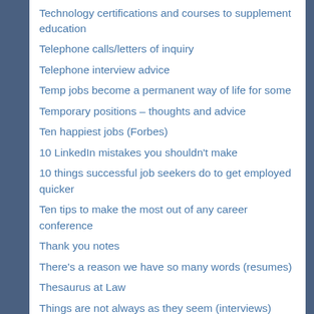Technology certifications and courses to supplement education
Telephone calls/letters of inquiry
Telephone interview advice
Temp jobs become a permanent way of life for some
Temporary positions – thoughts and advice
Ten happiest jobs (Forbes)
10 LinkedIn mistakes you shouldn't make
10 things successful job seekers do to get employed quicker
Ten tips to make the most out of any career conference
Thank you notes
There's a reason we have so many words (resumes)
Thesaurus at Law
Things are not always as they seem (interviews)
Thinking about writing a book
This is not a Hallmark Holiday (National Update Your Resume Month)
This is Generation Flux…